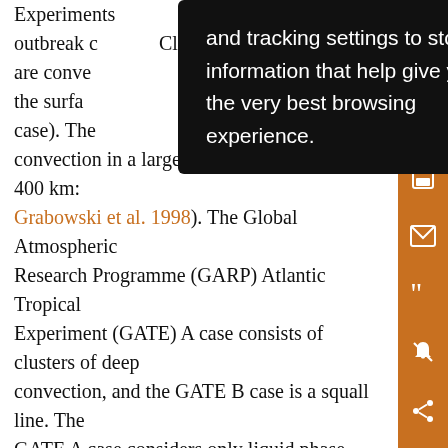Experiment... and tracking settings to store information that help give you the very best browsing experience. [tooltip overlay] ...outbreak c... Clouds are conve... ove the surfa... ELL case). The convection in a larger domain (400 km by 400 km: Grabowski et al. 1998). The Global Atmospheric Research Programme (GARP) Atlantic Tropical Experiment (GATE) A case consists of clusters of deep convection, and the GATE B case is a squall line. The GATE A case considers only liquid phase clouds, while the GATE B case includes both water and ice phase clouds. Therefore, clouds in the GATE B case extend to higher elevation than clouds in the GATE A case and the peak of cloud fraction appears at higher altitude. For all cases, cloud particles are assumed to be spherical with an effective radius of 10 μm. Note that the reduction of ν by